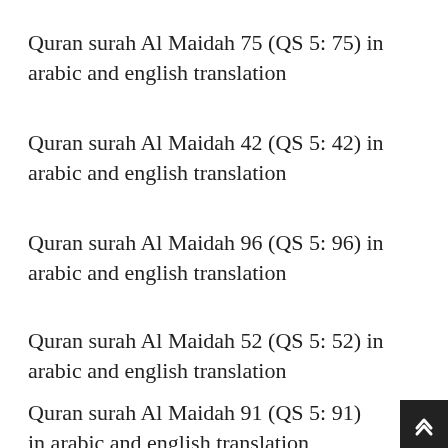Quran surah Al Maidah 75 (QS 5: 75) in arabic and english translation
Quran surah Al Maidah 42 (QS 5: 42) in arabic and english translation
Quran surah Al Maidah 96 (QS 5: 96) in arabic and english translation
Quran surah Al Maidah 52 (QS 5: 52) in arabic and english translation
Quran surah Al Maidah 91 (QS 5: 91) in arabic and english translation